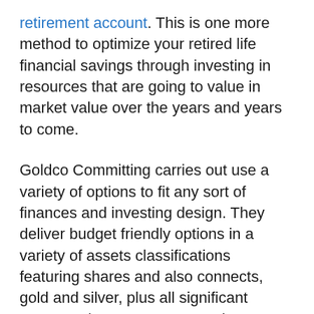retirement account. This is one more method to optimize your retired life financial savings through investing in resources that are going to value in market value over the years and years to come.
Goldco Committing carries out use a variety of options to fit any sort of finances and investing design. They deliver budget friendly options in a variety of assets classifications featuring shares and also connects, gold and silver, plus all significant monetary investment companies consisting of TIAACREF, Leaders, Charles Schwab, as well as Admiral Funds. This means you can easily possess an all-around economic assets company, complete with exceptional help for your retirement life, without breaking the